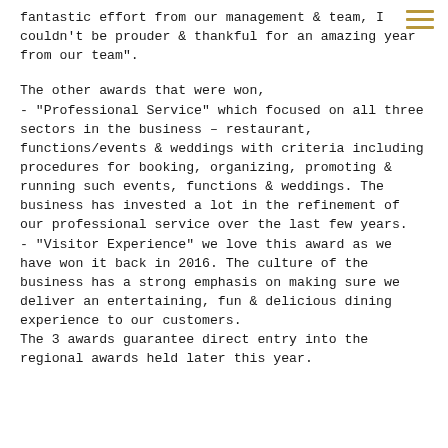fantastic effort from our management & team, I couldn't be prouder & thankful for an amazing year from our team".
The other awards that were won,
- "Professional Service" which focused on all three sectors in the business – restaurant, functions/events & weddings with criteria including procedures for booking, organizing, promoting & running such events, functions & weddings. The business has invested a lot in the refinement of our professional service over the last few years.
- "Visitor Experience" we love this award as we have won it back in 2016. The culture of the business has a strong emphasis on making sure we deliver an entertaining, fun & delicious dining experience to our customers.
The 3 awards guarantee direct entry into the regional awards held later this year.